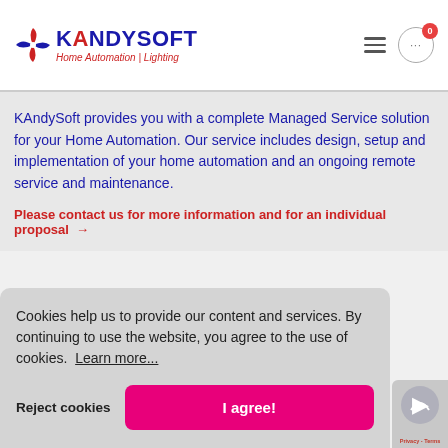[Figure (logo): KAndySoft logo with pinwheel graphic and text 'Home Automation | Lighting' tagline]
KAndySoft provides you with a complete Managed Service solution for your Home Automation. Our service includes design, setup and implementation of your home automation and an ongoing remote service and maintenance.
Please contact us for more information and for an individual proposal →
Cookies help us to provide our content and services. By continuing to use the website, you agree to the use of cookies. Learn more...
Reject cookies
I agree!